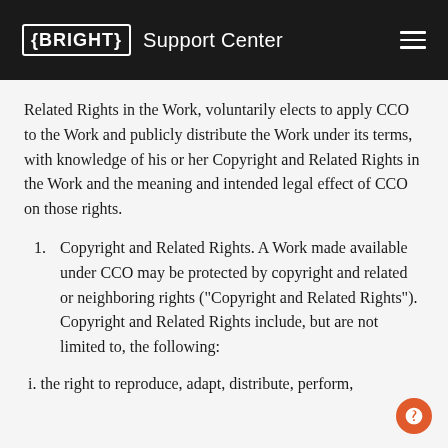BRIGHT Support Center
Related Rights in the Work, voluntarily elects to apply CCO to the Work and publicly distribute the Work under its terms, with knowledge of his or her Copyright and Related Rights in the Work and the meaning and intended legal effect of CCO on those rights.
1. Copyright and Related Rights. A Work made available under CCO may be protected by copyright and related or neighboring rights ("Copyright and Related Rights"). Copyright and Related Rights include, but are not limited to, the following:
i. the right to reproduce, adapt, distribute, perform,